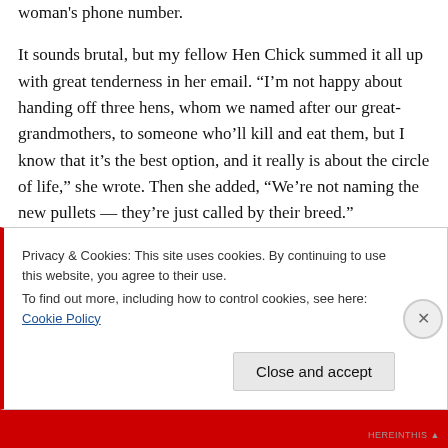woman's phone number.
It sounds brutal, but my fellow Hen Chick summed it all up with great tenderness in her email. “I’m not happy about handing off three hens, whom we named after our great-grandmothers, to someone who’ll kill and eat them, but I know that it’s the best option, and it really is about the circle of life,” she wrote. Then she added, “We’re not naming the new pullets — they’re just called by their breed.”
Well said, my Hen Chick sister. Meanwhile, when your
Privacy & Cookies: This site uses cookies. By continuing to use this website, you agree to their use.
To find out more, including how to control cookies, see here: Cookie Policy
Close and accept